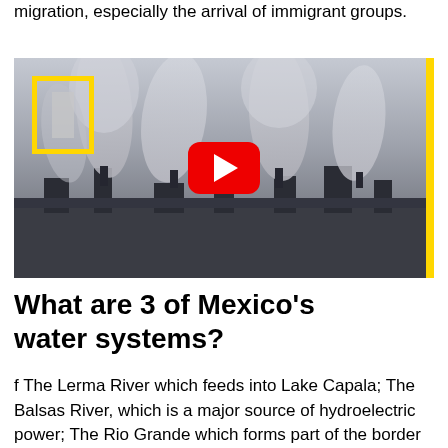migration, especially the arrival of immigrant groups.
[Figure (screenshot): A video thumbnail showing an industrial scene with smoke stacks emitting large plumes of smoke/steam, in black and white/grey tones. A National Geographic yellow border logo appears in the top-left corner. A YouTube red play button is centered on the image. A yellow vertical stripe appears on the right edge.]
What are 3 of Mexico's water systems?
f The Lerma River which feeds into Lake Capala; The Balsas River, which is a major source of hydroelectric power; The Rio Grande which forms part of the border